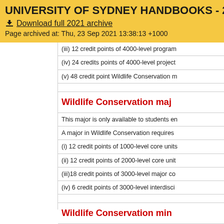UNIVERSITY OF SYDNEY HANDBOOKS - 2021
Download full 2021 archive
Page archived at: Thu, 23 Sep 2021 13:38:13 +1000
(iii) 12 credit points of 4000-level program
(iv) 24 credits points of 4000-level project
(v) 48 credit point Wildlife Conservation m
Wildlife Conservation maj
This major is only available to students en
A major in Wildlife Conservation requires
(i) 12 credit points of 1000-level core units
(ii) 12 credit points of 2000-level core unit
(iii)18 credit points of 3000-level major co
(iv) 6 credit points of 3000-level interdisci
Wildlife Conservation min
A minor in Wildlife Conservation requires